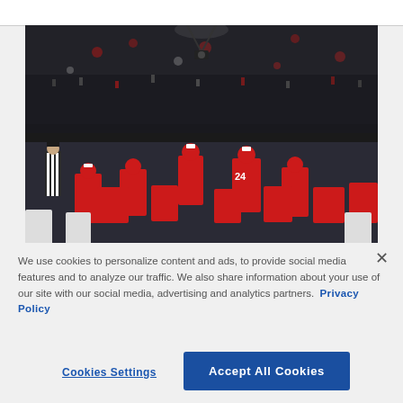[Figure (photo): Football game photo showing players in red uniforms on the field with a large crowd in the background. Player #24 is visible. A referee stands on the left side.]
We use cookies to personalize content and ads, to provide social media features and to analyze our traffic. We also share information about your use of our site with our social media, advertising and analytics partners. Privacy Policy
Cookies Settings
Accept All Cookies